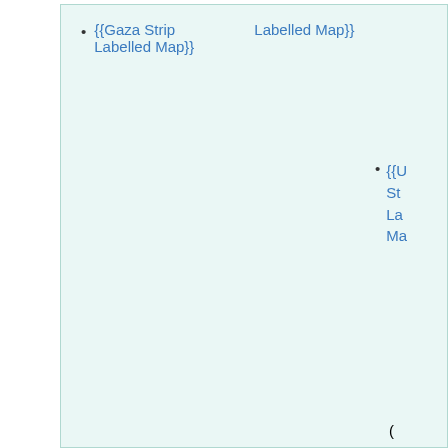{{Gaza Strip                     Labelled Map}}
Labelled Map}}
{{U
St
La
Ma
(
Us
Flo
{{V
La
Ma
{{V